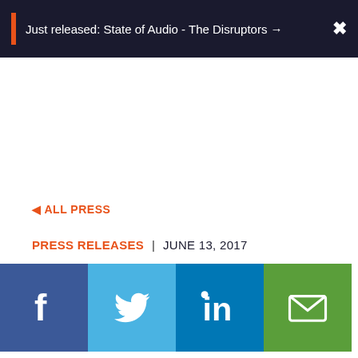Just released: State of Audio - The Disruptors →
◄ ALL PRESS
PRESS RELEASES | JUNE 13, 2017
[Figure (other): Social sharing icons: Facebook, Twitter, LinkedIn, Email]